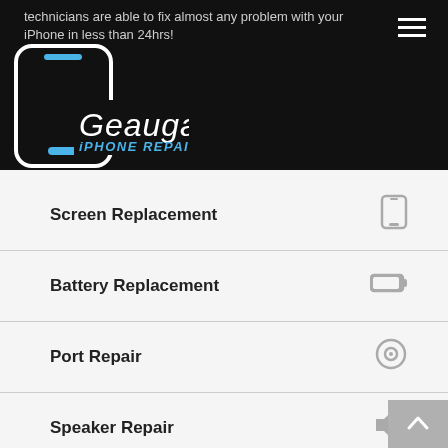technicians are able to fix almost any problem with your iPhone in less than 24hrs!
[Figure (logo): Geauga iPhone Repair logo with smartphone outline icon, white text 'Geauga' in italic and blue 'iPHONE REPAIR' on black background]
Screen Replacement
Battery Replacement
Port Repair
Speaker Repair